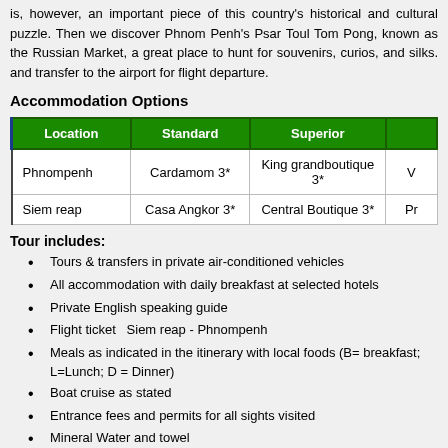is, however, an important piece of this country's historical and cultural puzzle. Then we discover Phnom Penh's Psar Toul Tom Pong, known as the Russian Market, a great place to hunt for souvenirs, curios, and silks. and transfer to the airport for flight departure.
Accommodation Options
| Location | Standard | Superior |  |
| --- | --- | --- | --- |
| Phnompenh | Cardamom 3* | King grandboutique 3* | V... |
| Siem reap | Casa Angkor 3* | Central Boutique 3* | Pr... |
Tour includes:
Tours & transfers in private air-conditioned vehicles
All accommodation with daily breakfast at selected hotels
Private English speaking guide
Flight ticket  Siem reap - Phnompenh
Meals as indicated in the itinerary with local foods (B= breakfast; L=Lunch; D = Dinner)
Boat cruise as stated
Entrance fees and permits for all sights visited
Mineral Water and towel
Government taxes & Service charges